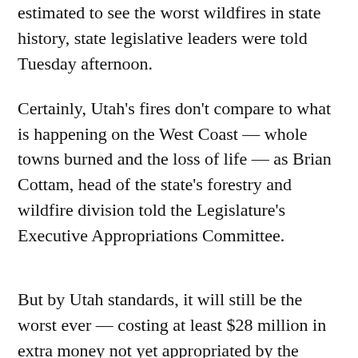estimated to see the worst wildfires in state history, state legislative leaders were told Tuesday afternoon.
Certainly, Utah's fires don't compare to what is happening on the West Coast — whole towns burned and the loss of life — as Brian Cottam, head of the state's forestry and wildfire division told the Legislature's Executive Appropriations Committee.
But by Utah standards, it will still be the worst ever — costing at least $28 million in extra money not yet appropriated by the Legislature.
And, worse, upwards of 75 percent of the state's wildfires are being caused by humans this year, not caused by lightning, said Cottam. Usually it is a 50/50 split.
The reason: So many more folks are out using rural areas of the state — camping, target shooting or driving